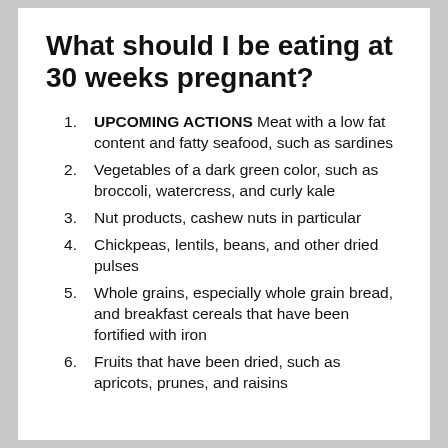What should I be eating at 30 weeks pregnant?
UPCOMING ACTIONS Meat with a low fat content and fatty seafood, such as sardines
Vegetables of a dark green color, such as broccoli, watercress, and curly kale
Nut products, cashew nuts in particular
Chickpeas, lentils, beans, and other dried pulses
Whole grains, especially whole grain bread, and breakfast cereals that have been fortified with iron
Fruits that have been dried, such as apricots, prunes, and raisins